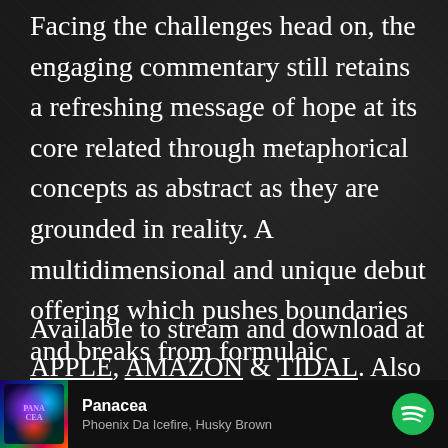Facing the challenges head on, the engaging commentary still retains a refreshing message of hope at its core related through metaphorical concepts as abstract as they are grounded in reality. A multidimensional and unique debut offering which pushes boundaries and breaks from formulaic convention.  Essential listening.
Available to stream and download at APPLE, AMAZON & TIDAL. Also streaming at Spotify and Soundcloud
[Figure (other): Spotify player bar at the bottom showing album art for 'Panacea' by Phoenix Da Icefire, Husky Brown with Spotify logo]